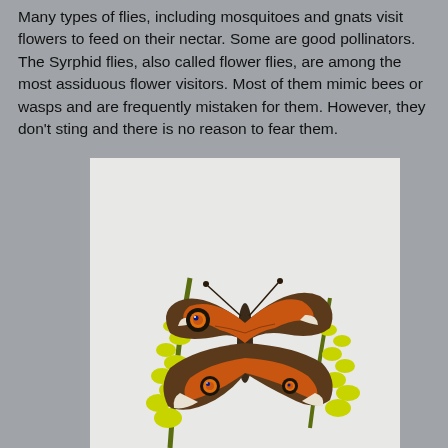Many types of flies, including mosquitoes and gnats visit flowers to feed on their nectar. Some are good pollinators. The Syrphid flies, also called flower flies, are among the most assiduous flower visitors. Most of them mimic bees or wasps and are frequently mistaken for them. However, they don't sting and there is no reason to fear them.
[Figure (photo): A Common Buckeye butterfly (Junonia coenia) with distinctive eye-spot wing markings, perched on yellow goldenrod flowers against a light background.]